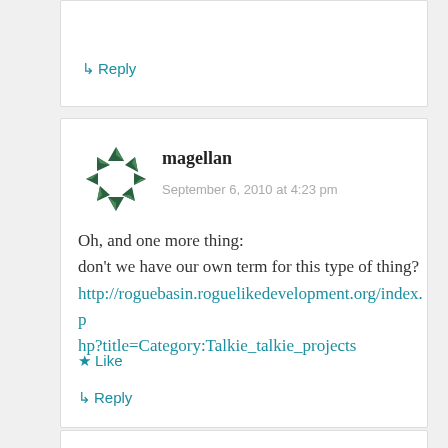↳ Reply
[Figure (illustration): Avatar icon: geometric pattern of green triangles arranged in a circle/star shape]
magellan
September 6, 2010 at 4:23 pm
Oh, and one more thing:
don't we have our own term for this type of thing?
http://roguebasin.roguelikedevelopment.org/index.php?title=Category:Talkie_talkie_projects
★ Like
↳ Reply